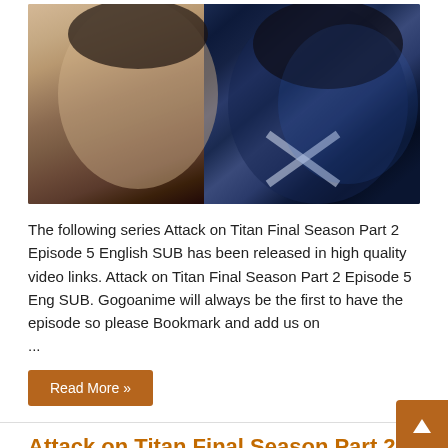[Figure (photo): Anime image showing two characters from Attack on Titan — a young person with short dark hair on the left and a darker-featured character on the right against a blue background]
The following series Attack on Titan Final Season Part 2 Episode 5 English SUB has been released in high quality video links. Attack on Titan Final Season Part 2 Episode 5 Eng SUB. Gogoanime will always be the first to have the episode so please Bookmark and add us on ...
Read More »
Attack on Titan Final Season Part 2 Episode